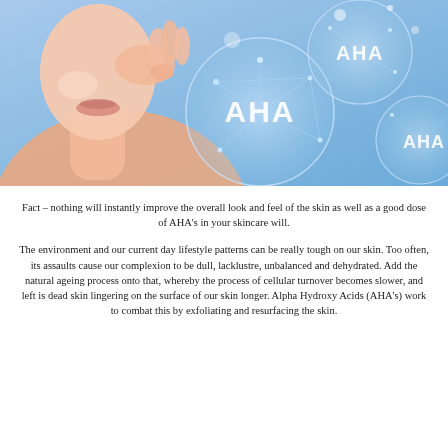[Figure (photo): Promotional skincare image showing a woman touching her face on the left side, with a blue background featuring three glowing bubble spheres each labeled 'AHA' with geometric line-art patterns inside them.]
Fact – nothing will instantly improve the overall look and feel of the skin as well as a good dose of AHA's in your skincare will.
The environment and our current day lifestyle patterns can be really tough on our skin. Too often, its assaults cause our complexion to be dull, lacklustre, unbalanced and dehydrated. Add the natural ageing process onto that, whereby the process of cellular turnover becomes slower, and left is dead skin lingering on the surface of our skin longer. Alpha Hydroxy Acids (AHA's) work to combat this by exfoliating and resurfacing the skin.